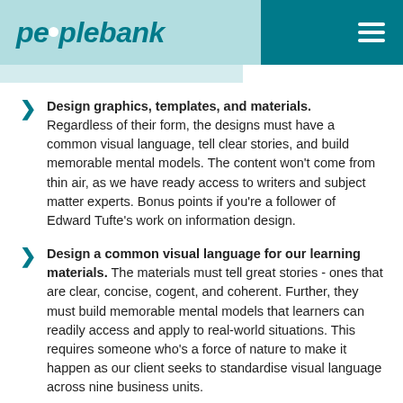peoplebank
Design graphics, templates, and materials. Regardless of their form, the designs must have a common visual language, tell clear stories, and build memorable mental models. The content won't come from thin air, as we have ready access to writers and subject matter experts. Bonus points if you're a follower of Edward Tufte's work on information design.
Design a common visual language for our learning materials. The materials must tell great stories - ones that are clear, concise, cogent, and coherent. Further, they must build memorable mental models that learners can readily access and apply to real-world situations. This requires someone who's a force of nature to make it happen as our client seeks to standardise visual language across nine business units.